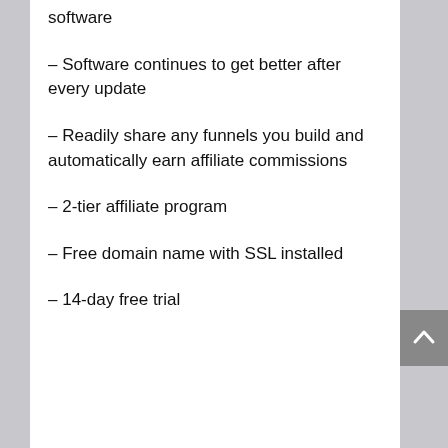software
– Software continues to get better after every update
– Readily share any funnels you build and automatically earn affiliate commissions
– 2-tier affiliate program
– Free domain name with SSL installed
– 14-day free trial